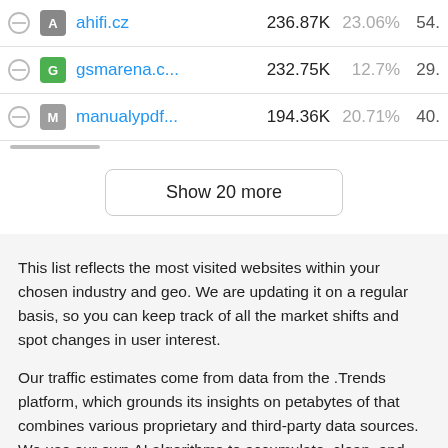|  |  | Site | Visits | % | Val |
| --- | --- | --- | --- | --- | --- |
| block | A | ahifi.cz | 236.87K | 23.06% | 54. |
| block | G | gsmarena.c... | 232.75K | 12.7% | 29. |
| block | M | manualypdf... | 194.36K | 20.71% | 40. |
Show 20 more
This list reflects the most visited websites within your chosen industry and geo. We are updating it on a regular basis, so you can keep track of all the market shifts and spot changes in user interest.
Our traffic estimates come from data from the .Trends platform, which grounds its insights on petabytes of that combines various proprietary and third-party data sources. We use our own AI algorithms to accumulate, clean, and process all this raw data, reflecting 200M+ websites across the globe and all sectors.